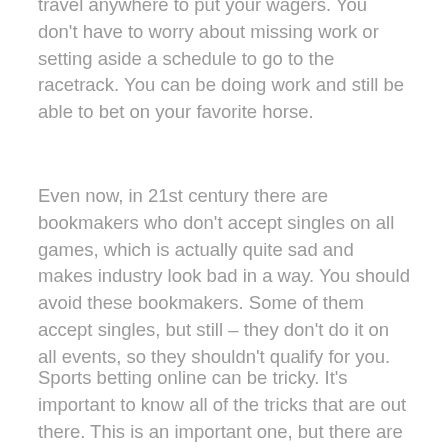travel anywhere to put your wagers. You don't have to worry about missing work or setting aside a schedule to go to the racetrack. You can be doing work and still be able to bet on your favorite horse.
Even now, in 21st century there are bookmakers who don't accept singles on all games, which is actually quite sad and makes industry look bad in a way. You should avoid these bookmakers. Some of them accept singles, but still – they don't do it on all events, so they shouldn't qualify for you.
Sports betting online can be tricky. It's important to know all of the tricks that are out there. This is an important one, but there are so many more. Make sure you do your homework.